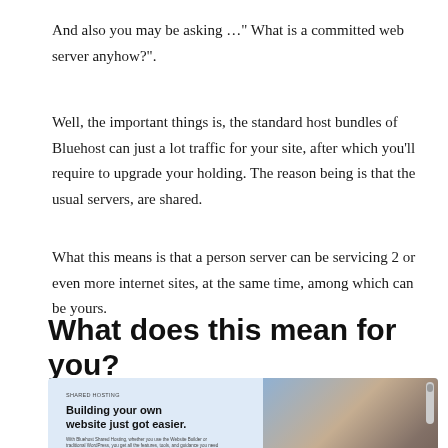And also you may be asking …" What is a committed web server anyhow?".
Well, the important things is, the standard host bundles of Bluehost can just a lot traffic for your site, after which you'll require to upgrade your holding. The reason being is that the usual servers, are shared.
What this means is that a person server can be servicing 2 or even more internet sites, at the same time, among which can be yours.
What does this mean for you?
[Figure (screenshot): Screenshot of Bluehost website with 'Building your own website just got easier.' heading, a blue 'Get Started' button, and a photo of a person cooking or preparing food on the right side.]